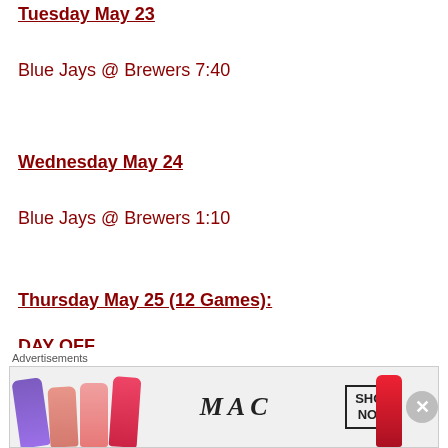Tuesday May 23
Blue Jays @ Brewers 7:40
Wednesday May 24
Blue Jays @ Brewers 1:10
Thursday May 25 (12 Games):
DAY OFF
Friday May 26
[Figure (other): MAC Cosmetics advertisement showing lipsticks with SHOP NOW button]